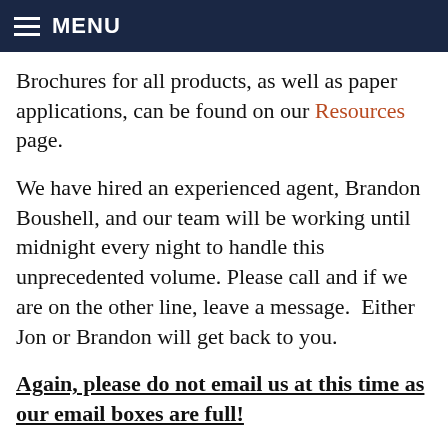MENU
Brochures for all products, as well as paper applications, can be found on our Resources page.
We have hired an experienced agent, Brandon Boushell, and our team will be working until midnight every night to handle this unprecedented volume. Please call and if we are on the other line, leave a message.  Either Jon or Brandon will get back to you.
Again, please do not email us at this time as our email boxes are full!
Keep in mind also that the most important thing